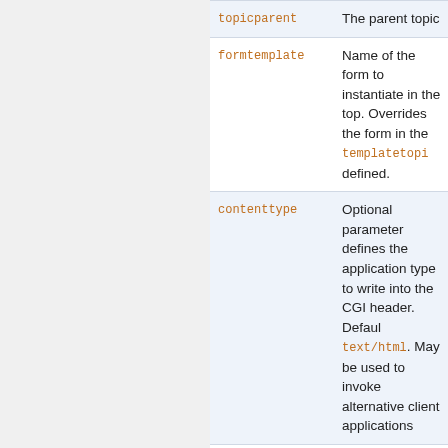| Parameter | Description |
| --- | --- |
| topicparent | The parent topic |
| formtemplate | Name of the form to instantiate in the topic. Overrides the form in the templatetopi defined. |
| contenttype | Optional parameter defines the application type to write into the CGI header. Default text/html. May be used to invoke alternative client applications |
| anyname | Any parameter can passed to the new topic; if the template topic contains %URLPARAM{"anyname it will be replaced by value |